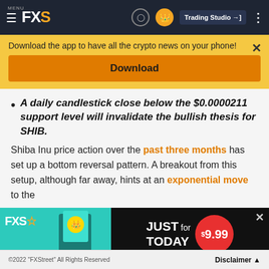MENU FXS — Trading Studio
Download the app to have all the crypto news on your phone!
Download
A daily candlestick close below the $0.0000211 support level will invalidate the bullish thesis for SHIB.
Shiba Inu price action over the past three months has set up a bottom reversal pattern. A breakout from this setup, although far away, hints at an exponential move to the
[Figure (advertisement): FXS advertisement banner: JUST for TODAY $9.99]
©2022 "FXStreet" All Rights Reserved    Disclaimer ▲